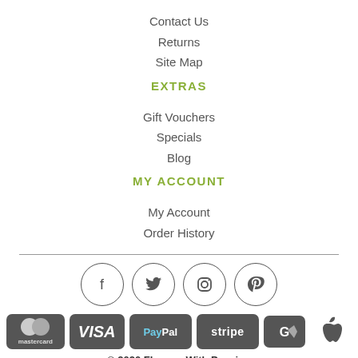Contact Us
Returns
Site Map
EXTRAS
Gift Vouchers
Specials
Blog
MY ACCOUNT
My Account
Order History
[Figure (infographic): Social media icons in circles: Facebook, Twitter, Instagram, Pinterest]
[Figure (infographic): Payment method logos: Mastercard, Visa, PayPal, Stripe, Google Pay, Apple Pay]
© 2020 Flowers With Passion